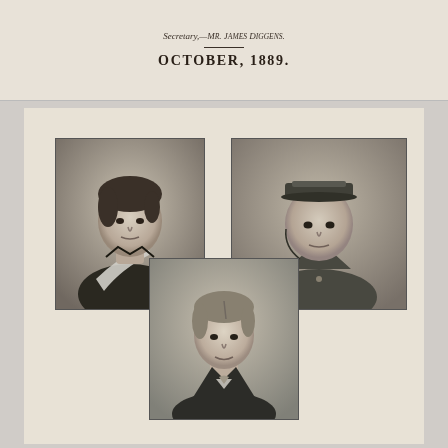Secretary,—Mr. James Diggens.
OCTOBER, 1889.
[Figure (photo): Three black-and-white portrait photographs of young men in military-style uniforms, arranged with two side by side on top and one centered below, on a cream/buff colored mount. Top left: young man with sash across chest. Top right: young man in military cap. Bottom center: young man in civilian dress with cravat.]